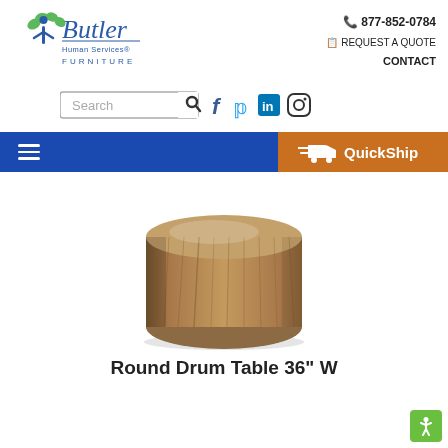[Figure (logo): Butler Human Services Furniture logo with green leaf/figure icon and blue text]
877-852-0784
REQUEST A QUOTE
CONTACT
[Figure (other): Search box with magnifying glass icon and social media icons: Facebook, Twitter, LinkedIn, Instagram]
[Figure (other): Navigation bar: hamburger menu on blue background, QuickShip section on orange background with truck/delivery icon]
[Figure (photo): Round drum table 36 inches wide, cylindrical shape with wood grain texture in tan/walnut finish, viewed from slightly above]
Round Drum Table 36" W